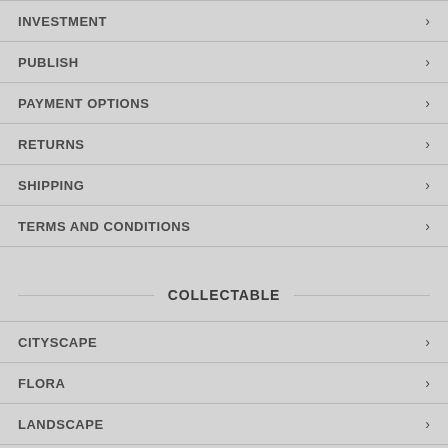INVESTMENT
PUBLISH
PAYMENT OPTIONS
RETURNS
SHIPPING
TERMS AND CONDITIONS
COLLECTABLE
CITYSCAPE
FLORA
LANDSCAPE
STILL LIFE
CREATURES